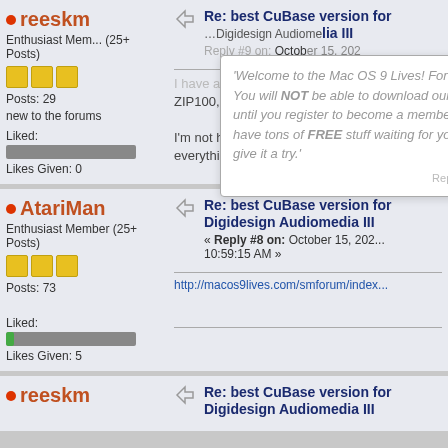reeskm - Enthusiast Member (25+ Posts) - Posts: 29 - new to the forums - Liked: - Likes Given: 0
Re: best CuBase version for Digidesign Audiomedia III - Reply #9 on: October 15, 202... - I have an extremely similar setup, an A ZIP100, SCSI and a video edit card run... - I'm not having much luck because I can everything work. I also don't have a cop
Tooltip: 'Welcome to the Mac OS 9 Lives! Forum You will NOT be able to download our files until you register to become a member. We have tons of FREE stuff waiting for you, do give it a try.'
AtariMan - Enthusiast Member (25+ Posts) - Posts: 73 - Liked: - Likes Given: 5
Re: best CuBase version for Digidesign Audiomedia III - Reply #8 on: October 15, 202... 10:59:15 AM - http://macos9lives.com/smforum/index...
reeskm - Re: best CuBase version for Digidesign Audiomedia III